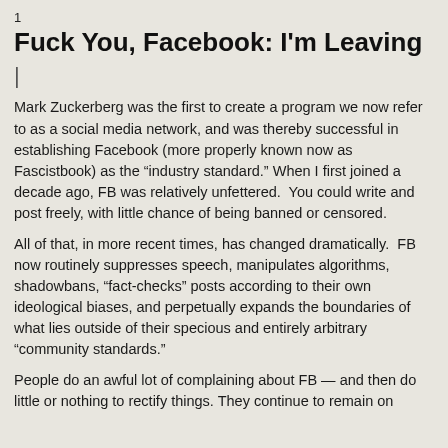1
Fuck You, Facebook: I'm Leaving
|
Mark Zuckerberg was the first to create a program we now refer to as a social media network, and was thereby successful in establishing Facebook (more properly known now as Fascistbook) as the “industry standard.” When I first joined a decade ago, FB was relatively unfettered.  You could write and post freely, with little chance of being banned or censored.
All of that, in more recent times, has changed dramatically.  FB now routinely suppresses speech, manipulates algorithms, shadowbans, “fact-checks” posts according to their own ideological biases, and perpetually expands the boundaries of what lies outside of their specious and entirely arbitrary “community standards.”
People do an awful lot of complaining about FB — and then do little or nothing to rectify things. They continue to remain on